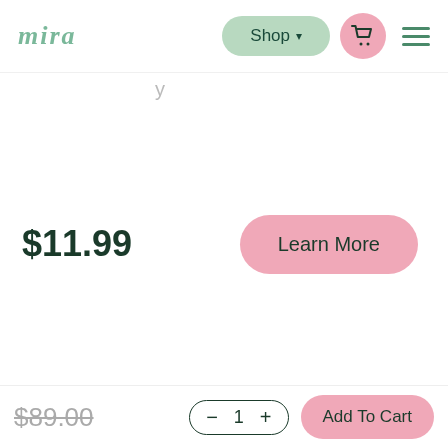mira — Shop navigation bar with cart and menu icons
$11.99
Learn More
FAQ
$89.00
- 1 +
Add To Cart